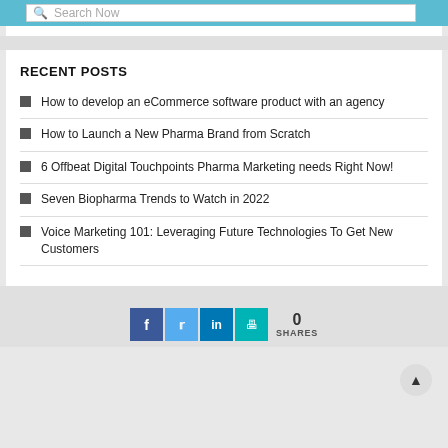Search Now
RECENT POSTS
How to develop an eCommerce software product with an agency
How to Launch a New Pharma Brand from Scratch
6 Offbeat Digital Touchpoints Pharma Marketing needs Right Now!
Seven Biopharma Trends to Watch in 2022
Voice Marketing 101: Leveraging Future Technologies To Get New Customers
0 SHARES